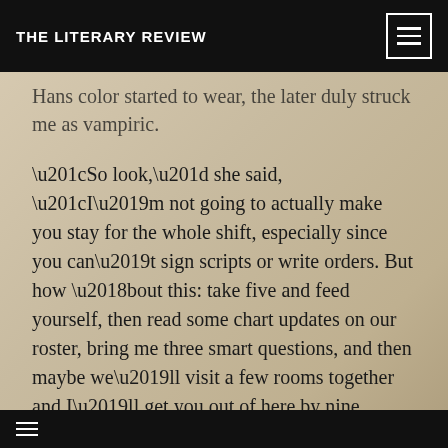THE LITERARY REVIEW
Hans color started to wear, the later duly struck me as vampiric.
“So look,” she said, “I’m not going to actually make you stay for the whole shift, especially since you can’t sign scripts or write orders. But how ‘bout this: take five and feed yourself, then read some chart updates on our roster, bring me three smart questions, and then maybe we’ll visit a few rooms together and I’ll get you out of here by nine. Deal?”
“Good deal.”
At that point, I could have asked for a copy of our